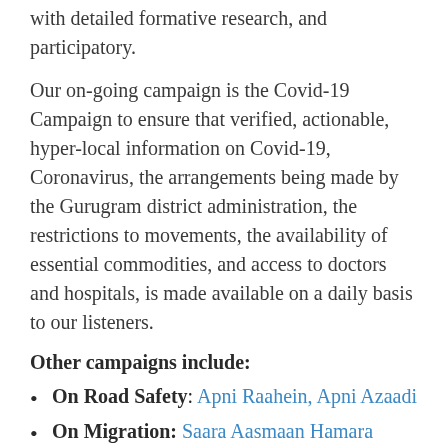with detailed formative research, and participatory.
Our on-going campaign is the Covid-19 Campaign to ensure that verified, actionable, hyper-local information on Covid-19, Coronavirus, the arrangements being made by the Gurugram district administration, the restrictions to movements, the availability of essential commodities, and access to doctors and hospitals, is made available on a daily basis to our listeners.
Other campaigns include:
On Road Safety: Apni Raahein, Apni Azaadi
On Migration: Saara Aasmaan Hamara
On Sexual and Reproductive Health: Chahat Chowk
On Gender: Bavra Mausam, Apni Saheli Hoon Main